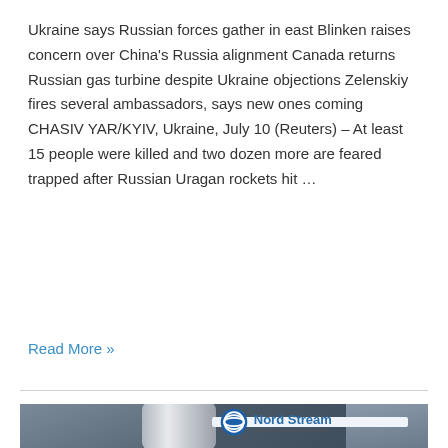Ukraine says Russian forces gather in east Blinken raises concern over China's Russia alignment Canada returns Russian gas turbine despite Ukraine objections Zelenskiy fires several ambassadors, says new ones coming CHASIV YAR/KYIV, Ukraine, July 10 (Reuters) – At least 15 people were killed and two dozen more are feared trapped after Russian Uragan rockets hit …
Read More »
[Figure (photo): Photo of Nord Stream pipeline infrastructure with large white pipes, industrial equipment, and a Nord Stream sign reading 'Secure gas supply for Euro...' visible in the background]